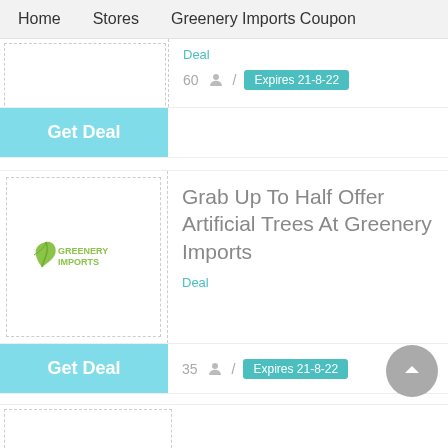Home   Stores   Greenery Imports Coupon
Deal
60  /  Expires 21-8-22
Get Deal
[Figure (logo): Greenery Imports logo with green leaf icon and text]
Grab Up To Half Offer Artificial Trees At Greenery Imports
Deal
35  /  Expires 21-8-22
Get Deal